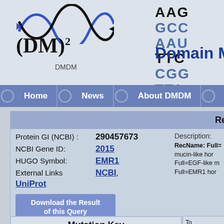[Figure (logo): DMDM logo with DNA helix graphic, (DM)^2 text, and DMDM label]
AAG  GCC  AAU
TTC  CGG  TTA
Domain Mapp
Home  News  About DMDM  Data
|  | Results for the Protein: |
| --- | --- |
| Protein GI (NCBI) : | 290457673 |
| NCBI Gene ID: | 2015 |
| HUGO Symbol: | EMR1 |
| External Links | NCBI, |
| UniProt |  |
| Description: | RecName: Full= mucin-like hor Full=EGF-like m Full=EMR1 hor |
Download the Result of this Query
Mutation Key
Polymorphism
Disease Mutation
To
To
To
To
To